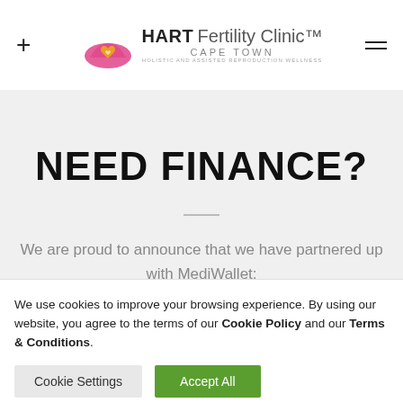+ HART Fertility Clinic CAPE TOWN ≡
NEED FINANCE?
We are proud to announce that we have partnered up with MediWallet;
We use cookies to improve your browsing experience. By using our website, you agree to the terms of our Cookie Policy and our Terms & Conditions.
Cookie Settings | Accept All